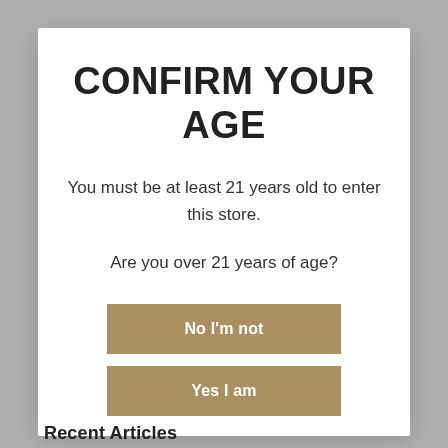CONFIRM YOUR AGE
You must be at least 21 years old to enter this store.
Are you over 21 years of age?
No I'm not
Yes I am
Recent Articles